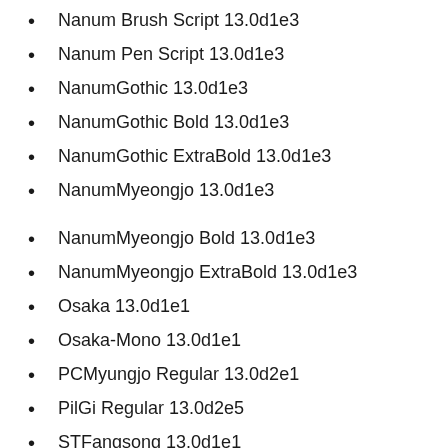Nanum Brush Script 13.0d1e3
Nanum Pen Script 13.0d1e3
NanumGothic 13.0d1e3
NanumGothic Bold 13.0d1e3
NanumGothic ExtraBold 13.0d1e3
NanumMyeongjo 13.0d1e3
NanumMyeongjo Bold 13.0d1e3
NanumMyeongjo ExtraBold 13.0d1e3
Osaka 13.0d1e1
Osaka-Mono 13.0d1e1
PCMyungjo Regular 13.0d2e1
PilGi Regular 13.0d2e5
STFangsong 13.0d1e1
STHeiti 13.0d1e2